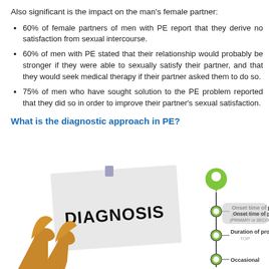Also significant is the impact on the man's female partner:
60% of female partners of men with PE report that they derive no satisfaction from sexual intercourse.
60% of men with PE stated that their relationship would probably be stronger if they were able to sexually satisfy their partner, and that they would seek medical therapy if their partner asked them to do so.
75% of men who have sought solution to the PE problem reported that they did so in order to improve their partner's sexual satisfaction.
What is the diagnostic approach in PE?
[Figure (infographic): Infographic showing a 'DIAGNOSIS' sign held up with high heels visible at bottom left, and a vertical flowchart on the right showing: Onset time of problem (PRIMARY or SECONDARY), Duration of problem TOP, Occasional]